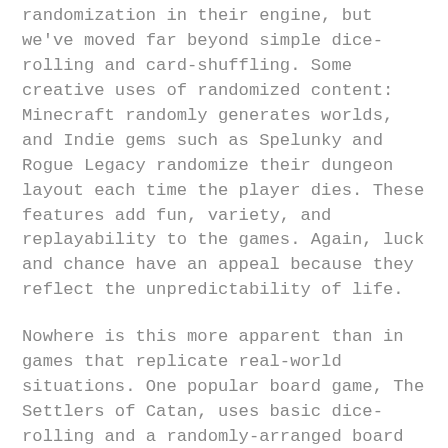randomization in their engine, but we've moved far beyond simple dice-rolling and card-shuffling. Some creative uses of randomized content: Minecraft randomly generates worlds, and Indie gems such as Spelunky and Rogue Legacy randomize their dungeon layout each time the player dies. These features add fun, variety, and replayability to the games. Again, luck and chance have an appeal because they reflect the unpredictability of life.
Nowhere is this more apparent than in games that replicate real-world situations. One popular board game, The Settlers of Catan, uses basic dice-rolling and a randomly-arranged board of tiles and values that change how much of various resources (from grain to wool) are generated each turn, simulating agricultural life by mimicking the often seemingly-arbitrary harvest boon and drought.